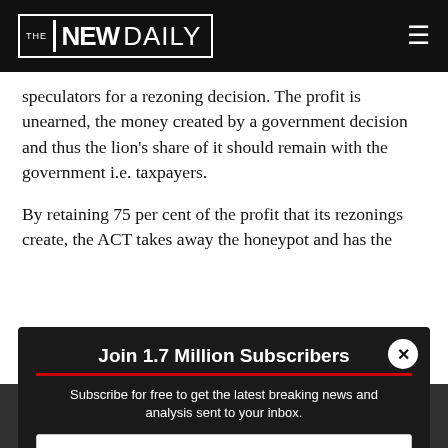THE NEW DAILY
speculators for a rezoning decision. The profit is unearned, the money created by a government decision and thus the lion's share of it should remain with the government i.e. taxpayers.
By retaining 75 per cent of the profit that its rezonings create, the ACT takes away the honeypot and has the necessary funds to provide infrastructure, instead of the usual mishmash… councils and governments elsewhere levy…
Tweet from @linzcom
Dr Murray: "…tructure would be to r… property rights granted throu… es."
[Figure (other): Subscription popup modal overlay: Join 1.7 Million Subscribers. Subscribe for free to get the latest breaking news and analysis sent to your inbox. Email input, postcode input, Subscribe button.]